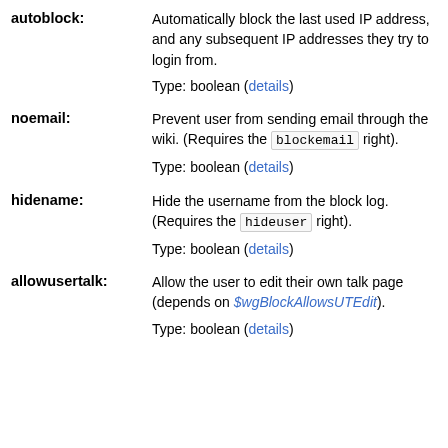autoblock: Automatically block the last used IP address, and any subsequent IP addresses they try to login from. Type: boolean (details)
noemail: Prevent user from sending email through the wiki. (Requires the blockemail right). Type: boolean (details)
hidename: Hide the username from the block log. (Requires the hideuser right). Type: boolean (details)
allowusertalk: Allow the user to edit their own talk page (depends on $wgBlockAllowsUTEdit). Type: boolean (details)